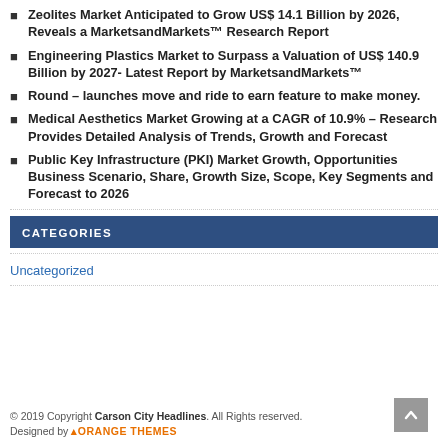Zeolites Market Anticipated to Grow US$ 14.1 Billion by 2026, Reveals a MarketsandMarkets™ Research Report
Engineering Plastics Market to Surpass a Valuation of US$ 140.9 Billion by 2027- Latest Report by MarketsandMarkets™
Round – launches move and ride to earn feature to make money.
Medical Aesthetics Market Growing at a CAGR of 10.9% – Research Provides Detailed Analysis of Trends, Growth and Forecast
Public Key Infrastructure (PKI) Market Growth, Opportunities Business Scenario, Share, Growth Size, Scope, Key Segments and Forecast to 2026
CATEGORIES
Uncategorized
© 2019 Copyright Carson City Headlines. All Rights reserved. Designed by ORANGE THEMES